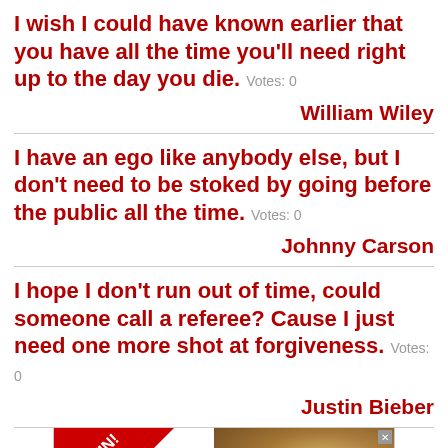I wish I could have known earlier that you have all the time you'll need right up to the day you die. Votes: 0
William Wiley
I have an ego like anybody else, but I don't need to be stoked by going before the public all the time. Votes: 0
Johnny Carson
I hope I don't run out of time, could someone call a referee? Cause I just need one more shot at forgiveness. Votes: 0
Justin Bieber
[Figure (infographic): Advertisement banner with red diagonal ribbon saying 'TO WIN!' and a photo of a person with blonde/brown hair]